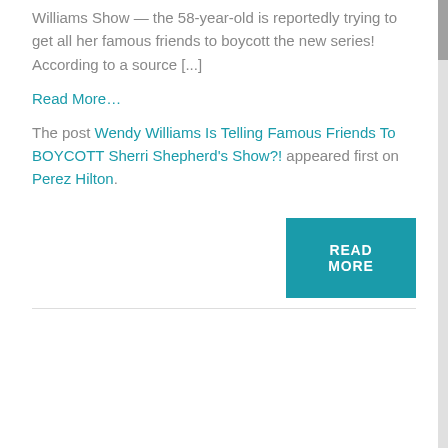Williams Show — the 58-year-old is reportedly trying to get all her famous friends to boycott the new series! According to a source [...]
Read More...
The post Wendy Williams Is Telling Famous Friends To BOYCOTT Sherri Shepherd's Show?! appeared first on Perez Hilton.
[Figure (other): Teal READ MORE button]